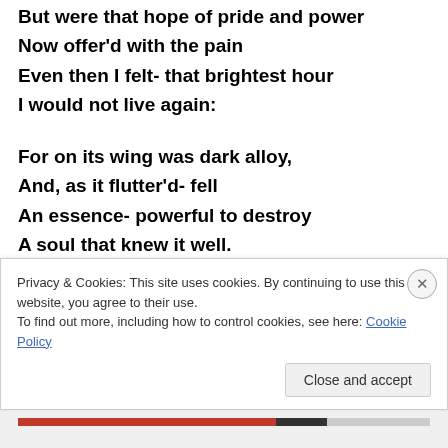But were that hope of pride and power
Now offer’d with the pain
Even then I felt- that brightest hour
I would not live again:
For on its wing was dark alloy,
And, as it flutter’d- fell
An essence- powerful to destroy
A soul that knew it well.
*I’d apologize, but you know I wouldn’t mean it
Privacy & Cookies: This site uses cookies. By continuing to use this website, you agree to their use. To find out more, including how to control cookies, see here: Cookie Policy
Close and accept